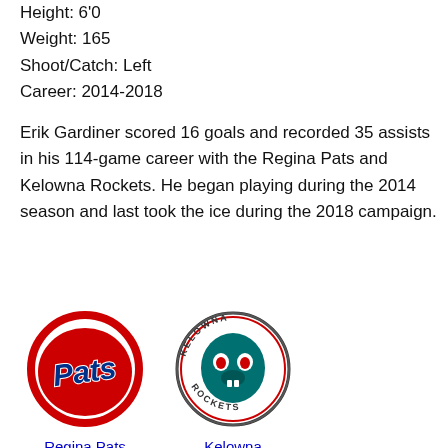Height: 6'0
Weight: 165
Shoot/Catch: Left
Career: 2014-2018
Erik Gardiner scored 16 goals and recorded 35 assists in his 114-game career with the Regina Pats and Kelowna Rockets. He began playing during the 2014 season and last took the ice during the 2018 campaign.
[Figure (logo): Regina Pats hockey team logo - red circle with cursive Pats text in blue]
Regina Pats
[Figure (logo): Kelowna Rockets hockey team logo - teal/green circle with rocket mascot]
Kelowna